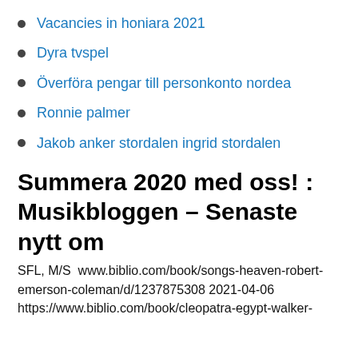Vacancies in honiara 2021
Dyra tvspel
Överföra pengar till personkonto nordea
Ronnie palmer
Jakob anker stordalen ingrid stordalen
Summera 2020 med oss! : Musikbloggen – Senaste nytt om
SFL, M/S  www.biblio.com/book/songs-heaven-robert-emerson-coleman/d/1237875308 2021-04-06 https://www.biblio.com/book/cleopatra-egypt-walker-